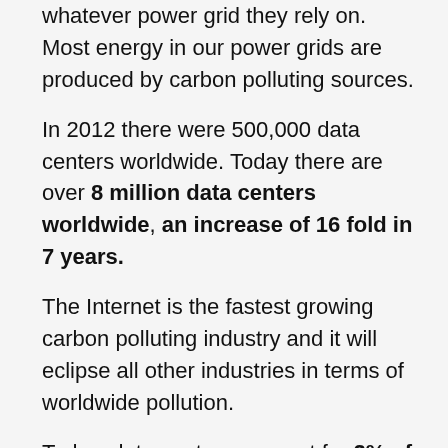whatever power grid they rely on. Most energy in our power grids are produced by carbon polluting sources.
In 2012 there were 500,000 data centers worldwide. Today there are over 8 million data centers worldwide, an increase of 16 fold in 7 years.
The Internet is the fastest growing carbon polluting industry and it will eclipse all other industries in terms of worldwide pollution.
Today, data centers account for 2% of the world's carbon emissions, that is as much